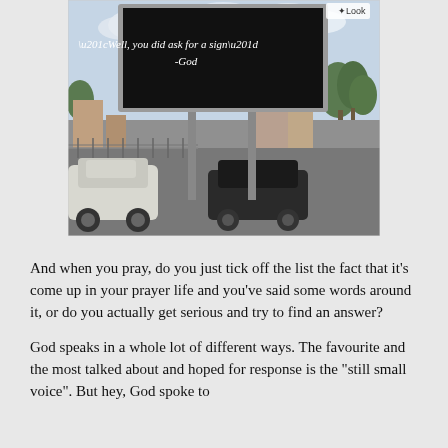[Figure (photo): A large outdoor billboard with a black background displaying white italic text: “Well, you did ask for a sign” -God. The billboard is photographed from street level with cars, buildings, trees and a cloudy sky visible in the background. A small 'Look' logo appears in the top right corner of the photo.]
And when you pray, do you just tick off the list the fact that it’s come up in your prayer life and you’ve said some words around it, or do you actually get serious and try to find an answer?
God speaks in a whole lot of different ways. The favourite and the most talked about and hoped for response is the “still small voice”. But hey, God spoke to